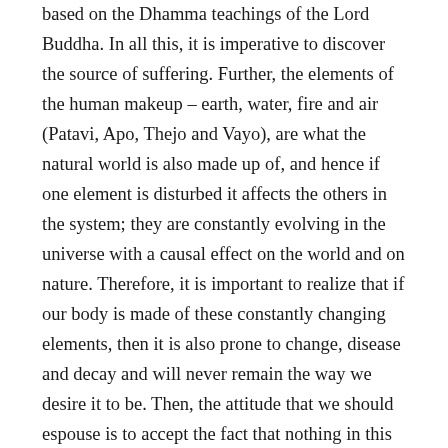based on the Dhamma teachings of the Lord Buddha. In all this, it is imperative to discover the source of suffering. Further, the elements of the human makeup – earth, water, fire and air (Patavi, Apo, Thejo and Vayo), are what the natural world is also made up of, and hence if one element is disturbed it affects the others in the system; they are constantly evolving in the universe with a causal effect on the world and on nature. Therefore, it is important to realize that if our body is made of these constantly changing elements, then it is also prone to change, disease and decay and will never remain the way we desire it to be. Then, the attitude that we should espouse is to accept the fact that nothing in this world is in our control, and everything is prone to change and that everything is temporary. If so, why should a human being be sad in life? The path to a peaceful and happy life rests with our attitude to life. It is a choice that we make to embrace a way of life lived either according to